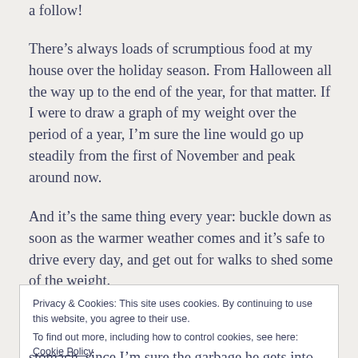a follow!
There’s always loads of scrumptious food at my house over the holiday season. From Halloween all the way up to the end of the year, for that matter. If I were to draw a graph of my weight over the period of a year, I’m sure the line would go up steadily from the first of November and peak around now.
And it’s the same thing every year: buckle down as soon as the warmer weather comes and it’s safe to drive every day, and get out for walks to shed some of the weight.
Privacy & Cookies: This site uses cookies. By continuing to use this website, you agree to their use.
To find out more, including how to control cookies, see here: Cookie Policy
Close and accept
stomach, since I’m sure the garbage he gets into does